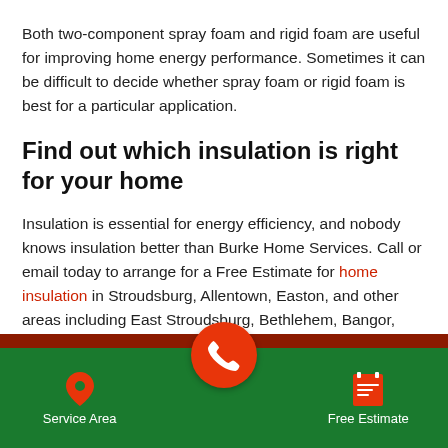Both two-component spray foam and rigid foam are useful for improving home energy performance. Sometimes it can be difficult to decide whether spray foam or rigid foam is best for a particular application.
Find out which insulation is right for your home
Insulation is essential for energy efficiency, and nobody knows insulation better than Burke Home Services. Call or email today to arrange for a Free Estimate for home insulation in Stroudsburg, Allentown, Easton, and other areas including East Stroudsburg, Bethlehem, Bangor, Pen Argyl, Bartonsville, Wind Gap, Pocono Pines, and more.
Service Area | [phone] | Free Estimate